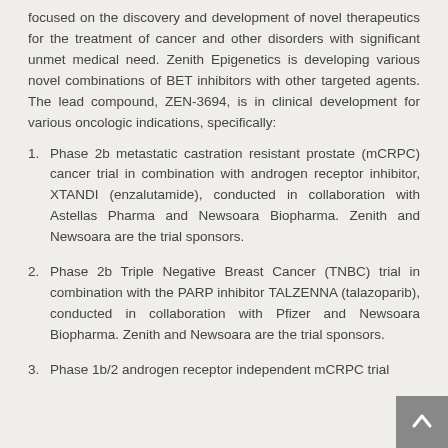focused on the discovery and development of novel therapeutics for the treatment of cancer and other disorders with significant unmet medical need. Zenith Epigenetics is developing various novel combinations of BET inhibitors with other targeted agents. The lead compound, ZEN-3694, is in clinical development for various oncologic indications, specifically:
Phase 2b metastatic castration resistant prostate (mCRPC) cancer trial in combination with androgen receptor inhibitor, XTANDI (enzalutamide), conducted in collaboration with Astellas Pharma and Newsoara Biopharma. Zenith and Newsoara are the trial sponsors.
Phase 2b Triple Negative Breast Cancer (TNBC) trial in combination with the PARP inhibitor TALZENNA (talazoparib), conducted in collaboration with Pfizer and Newsoara Biopharma. Zenith and Newsoara are the trial sponsors.
Phase 1b/2 androgen receptor independent mCRPC trial